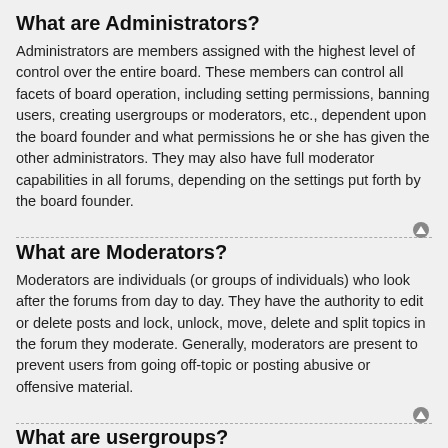What are Administrators?
Administrators are members assigned with the highest level of control over the entire board. These members can control all facets of board operation, including setting permissions, banning users, creating usergroups or moderators, etc., dependent upon the board founder and what permissions he or she has given the other administrators. They may also have full moderator capabilities in all forums, depending on the settings put forth by the board founder.
What are Moderators?
Moderators are individuals (or groups of individuals) who look after the forums from day to day. They have the authority to edit or delete posts and lock, unlock, move, delete and split topics in the forum they moderate. Generally, moderators are present to prevent users from going off-topic or posting abusive or offensive material.
What are usergroups?
Usergroups are groups of users that divide the community into manageable sections board administrators can work with. Each user can belong to several groups and each group can be assigned individual permissions. This provides an easy way for administrators to change permissions for many users at once, such as changing moderator